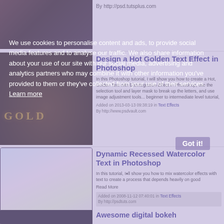[Figure (screenshot): Dark thumbnail image at top]
By http://psd.tutsplus.com
[Figure (photo): Golden text effect in Photoshop thumbnail]
Design a Hot Golden Text Effect in Photoshop
In this Photoshop tutorial, I will show you how to create a Hot, Golden Text with Disintegration Effect in Photoshop, use the selection tool and layer mask to break up the letters, and use image adjustment tools... beginner to intermediate level tutorial,
Added on 2013-03-13 09:38:19 in Text Effects
By http://www.psdvault.com
[Figure (photo): Dynamic recessed watercolor text effect thumbnail]
Dynamic Recessed Watercolor Text in Photoshop
In this tutorial, I'll show you how to mix watercolor effects with text to create a process that depends heavily on good
Read More
Added on 2008-11-12 07:40:01 in Text Effects
By http://psdtuts.com
Awesome digital bokeh
We use cookies to personalise content and ads, to provide social media features and to analyse our traffic. We also share information about your use of our site with our social media, advertising and analytics partners who may combine it with other information you've provided to them or they've collected from your use of their services. Learn more
Got it!